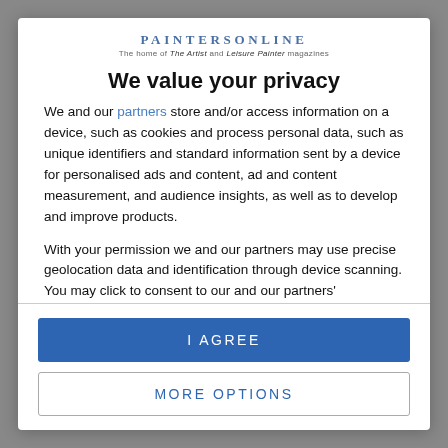[Figure (logo): PaintersOnline logo with tagline 'The home of The Artist and Leisure Painter magazines']
We value your privacy
We and our partners store and/or access information on a device, such as cookies and process personal data, such as unique identifiers and standard information sent by a device for personalised ads and content, ad and content measurement, and audience insights, as well as to develop and improve products.
With your permission we and our partners may use precise geolocation data and identification through device scanning. You may click to consent to our and our partners' processing as described above. Alternatively you may access more detailed information and change your preferences before consenting or to
I AGREE
MORE OPTIONS